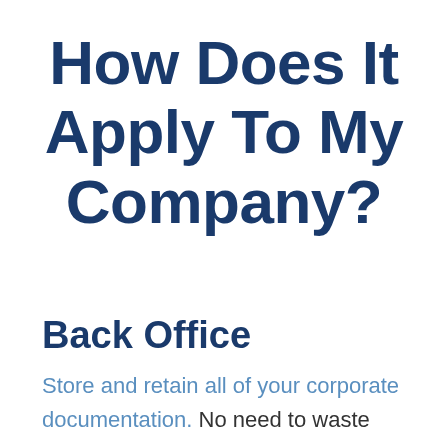How Does It Apply To My Company?
Back Office
Store and retain all of your corporate documentation. No need to waste